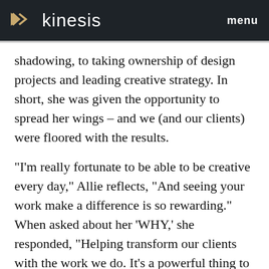kinesis   menu
shadowing, to taking ownership of design projects and leading creative strategy. In short, she was given the opportunity to spread her wings – and we (and our clients) were floored with the results.
“I’m really fortunate to be able to be creative every day,” Allie reflects, “And seeing your work make a difference is so rewarding.” When asked about her ‘WHY,’ she responded, “Helping transform our clients with the work we do. It’s a powerful thing to watch and experience.” (Allie must be a Kinesian through and through, since Kinesis’ core mission is transformation)